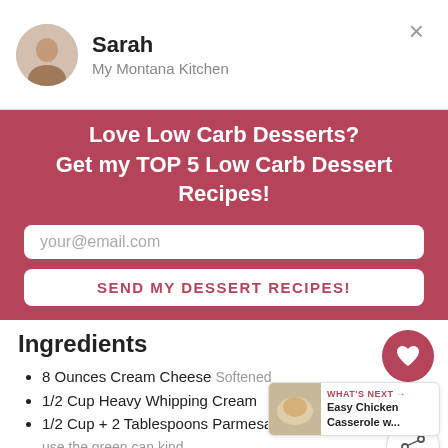Sarah
My Montana Kitchen
Love Low Carb Desserts?
Get my TOP 5 Low Carb Dessert Recipes!
your@email.com
SEND MY DESSERT RECIPES!
Ingredients
8 Ounces Cream Cheese Softened
1/2 Cup Heavy Whipping Cream
1/2 Cup + 2 Tablespoons Parmesan, Divided – use the green can kind
1/2 Teaspoon Basil
1/2 Teaspoon Salt
2.5 Cups Cooked Chicken cubed or shredded